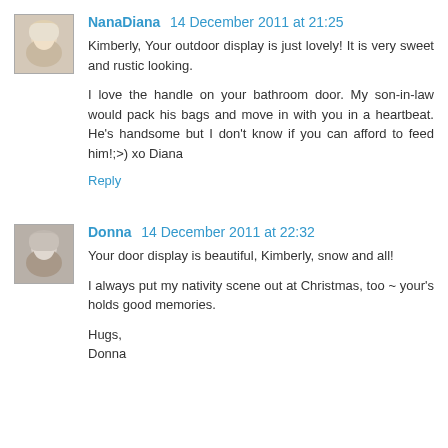[Figure (photo): Avatar photo of NanaDiana, a woman with light blonde hair]
NanaDiana 14 December 2011 at 21:25
Kimberly, Your outdoor display is just lovely! It is very sweet and rustic looking.

I love the handle on your bathroom door. My son-in-law would pack his bags and move in with you in a heartbeat. He's handsome but I don't know if you can afford to feed him!;>) xo Diana

Reply
[Figure (photo): Avatar photo of Donna, a woman with gray hair]
Donna 14 December 2011 at 22:32
Your door display is beautiful, Kimberly, snow and all!

I always put my nativity scene out at Christmas, too ~ your's holds good memories.

Hugs,
Donna